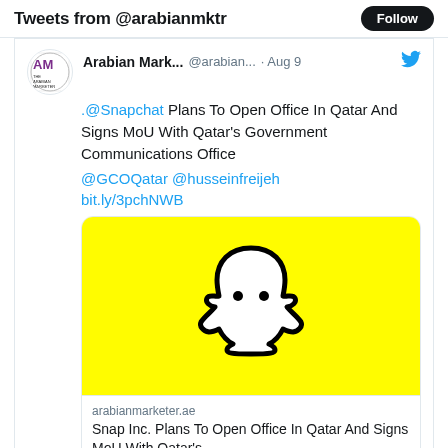Tweets from @arabianmktr
Arabian Mark... @arabian... · Aug 9
.@Snapchat Plans To Open Office In Qatar And Signs MoU With Qatar's Government Communications Office

@GCOQatar @husseinfreijeh

bit.ly/3pchNWB
[Figure (screenshot): Snapchat ghost logo on yellow background, with link card showing arabianmarketer.ae - Snap Inc. Plans To Open Office In Qatar And Signs MoU With Qatar's ...]